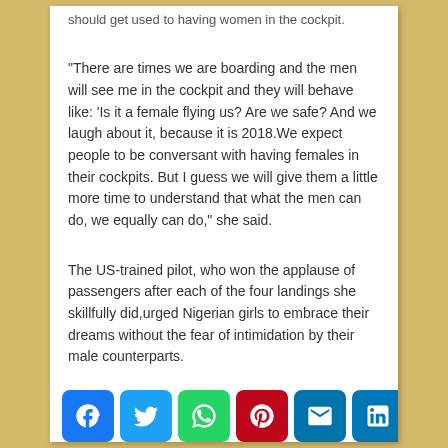should get used to having women in the cockpit.
“There are times we are boarding and the men will see me in the cockpit and they will behave like: ‘Is it a female flying us? Are we safe? And we laugh about it, because it is 2018.We expect people to be conversant with having females in their cockpits. But I guess we will give them a little more time to understand that what the men can do, we equally can do,” she said.
The US-trained pilot, who won the applause of passengers after each of the four landings she skillfully did,urged Nigerian girls to embrace their dreams without the fear of intimidation by their male counterparts.
[Figure (infographic): Social media sharing buttons: Facebook, Twitter, WhatsApp, Pinterest, Email, LinkedIn, More]